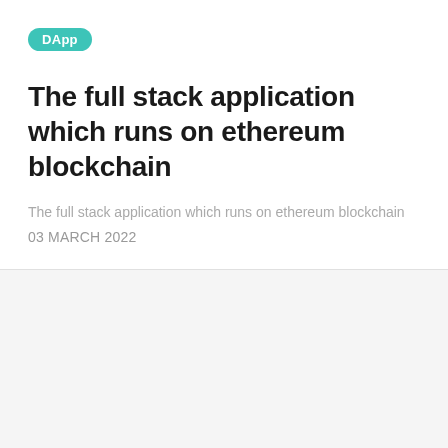DApp
The full stack application which runs on ethereum blockchain
The full stack application which runs on ethereum blockchain
03 MARCH 2022